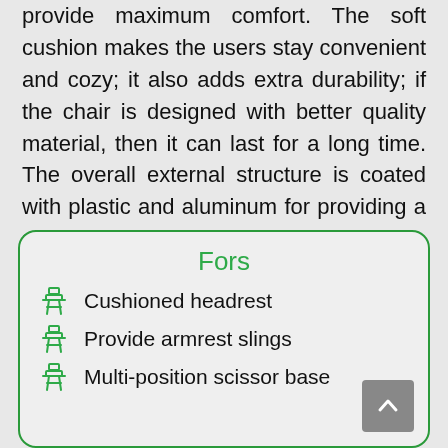provide maximum comfort. The soft cushion makes the users stay convenient and cozy; it also adds extra durability; if the chair is designed with better quality material, then it can last for a long time. The overall external structure is coated with plastic and aluminum for providing a safer and better product.
Fors
Cushioned headrest
Provide armrest slings
Multi-position scissor base